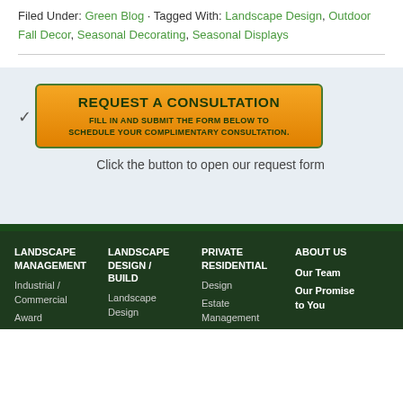Filed Under: Green Blog · Tagged With: Landscape Design, Outdoor Fall Decor, Seasonal Decorating, Seasonal Displays
[Figure (infographic): Orange and green consultation button reading REQUEST A CONSULTATION with subtitle FILL IN AND SUBMIT THE FORM BELOW TO SCHEDULE YOUR COMPLIMENTARY CONSULTATION.]
Click the button to open our request form
LANDSCAPE MANAGEMENT | LANDSCAPE DESIGN / BUILD | PRIVATE RESIDENTIAL | ABOUT US | Industrial / Commercial | Award | Landscape Design | Design | Estate Management | Our Team | Our Promise to You